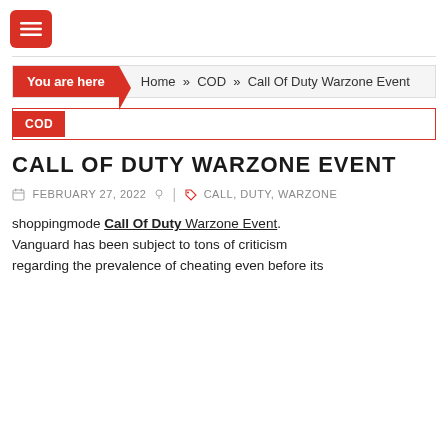Menu icon (hamburger button)
You are here  Home » COD » Call Of Duty Warzone Event
COD
CALL OF DUTY WARZONE EVENT
FEBRUARY 27, 2022  |  CALL, DUTY, WARZONE
shoppingmode Call Of Duty Warzone Event. Vanguard has been subject to tons of criticism regarding the prevalence of cheating even before its